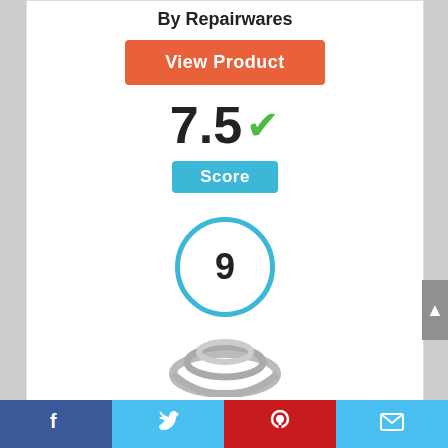By Repairwares
View Product
7.5
Score
[Figure (infographic): A circle with the number 9 inside, outlined in blue, indicating a ranking or score of 9]
[Figure (photo): Partial image of a product (appears to be a hose or cable)]